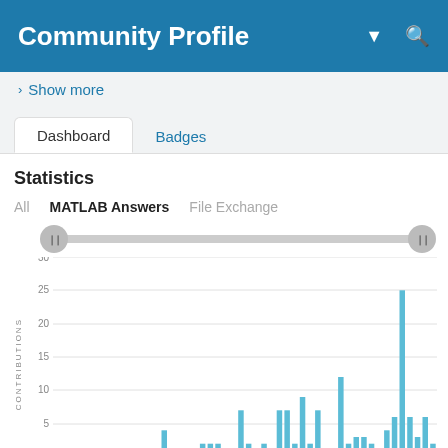Community Profile
Show more
Dashboard   Badges
Statistics
All   MATLAB Answers   File Exchange
[Figure (bar-chart): Contributions over time]